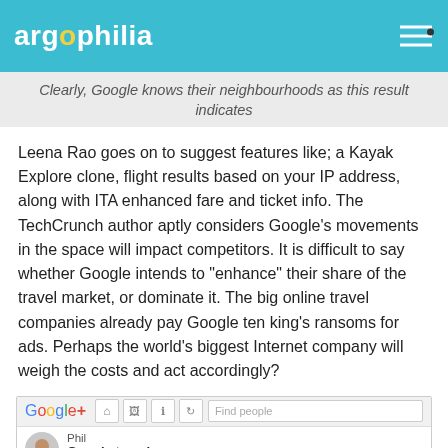argophilia
Clearly, Google knows their neighbourhoods as this result indicates
Leena Rao goes on to suggest features like; a Kayak Explore clone, flight results based on your IP address, along with ITA enhanced fare and ticket info. The TechCrunch author aptly considers Google’s movements in the space will impact competitors. It is difficult to say whether Google intends to “enhance” their share of the travel market, or dominate it. The big online travel companies already pay Google ten king’s ransoms for ads. Perhaps the world’s biggest Internet company will weigh the costs and act accordingly?
[Figure (screenshot): Screenshot of Google+ interface showing navigation bar with Google+ logo, icons, Find people search box, and below it a user named Phil with 'Google travel' text]